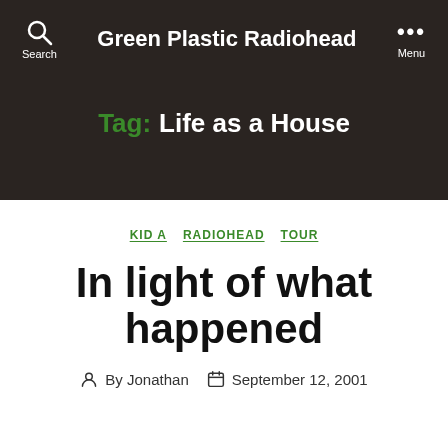Green Plastic Radiohead
Tag: Life as a House
KID A  RADIOHEAD  TOUR
In light of what happened
By Jonathan  September 12, 2001